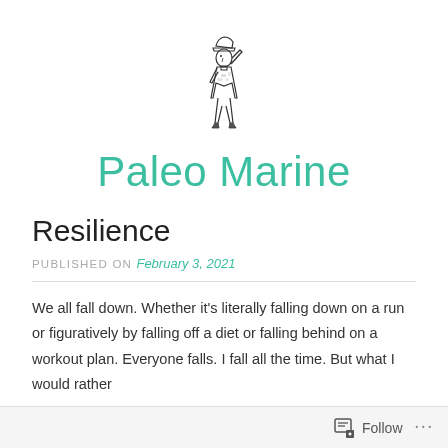[Figure (illustration): Line drawing of a military marine soldier saluting, wearing camouflage uniform, viewed from the side/front]
Paleo Marine
Resilience
PUBLISHED ON February 3, 2021
We all fall down. Whether it's literally falling down on a run or figuratively by falling off a diet or falling behind on a workout plan. Everyone falls. I fall all the time. But what I would rather
Follow ...